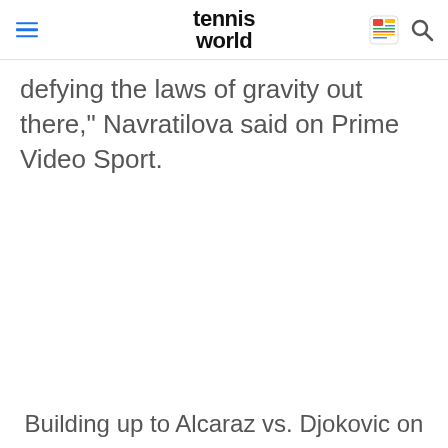tennis world
defying the laws of gravity out there, Navratilova said on Prime Video Sport.
Building up to Alcaraz vs. Djokovic on